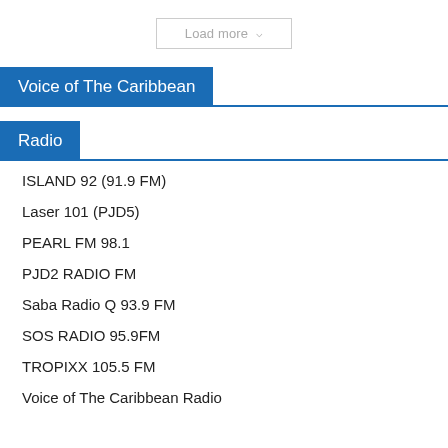Load more
Voice of The Caribbean
Radio
ISLAND 92 (91.9 FM)
Laser 101 (PJD5)
PEARL FM 98.1
PJD2 RADIO FM
Saba Radio Q 93.9 FM
SOS RADIO 95.9FM
TROPIXX 105.5 FM
Voice of The Caribbean Radio